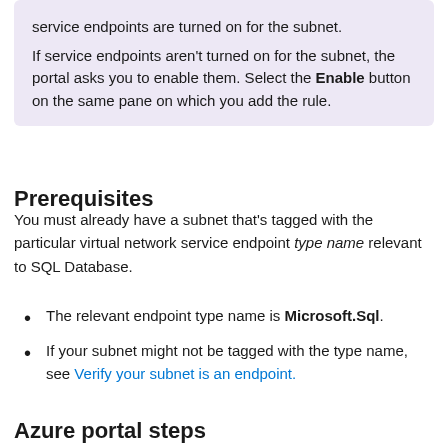service endpoints are turned on for the subnet.

If service endpoints aren't turned on for the subnet, the portal asks you to enable them. Select the Enable button on the same pane on which you add the rule.
Prerequisites
You must already have a subnet that's tagged with the particular virtual network service endpoint type name relevant to SQL Database.
The relevant endpoint type name is Microsoft.Sql.
If your subnet might not be tagged with the type name, see Verify your subnet is an endpoint.
Azure portal steps